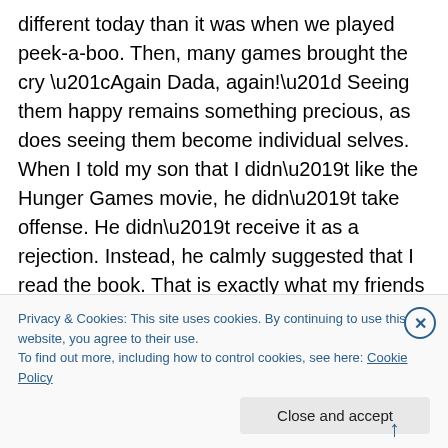different today than it was when we played peek-a-boo. Then, many games brought the cry “Again Dada, again!” Seeing them happy remains something precious, as does seeing them become individual selves. When I told my son that I didn’t like the Hunger Games movie, he didn’t take offense. He didn’t receive it as a rejection. Instead, he calmly suggested that I read the book. That is exactly what my friends said. That sort of thing is happening more and more. Still, I wonder, am I leading them anywhere good?  I worry, even though I know it doesn’t matter how much I want to try and see down the road of their lives. Anything I
Privacy & Cookies: This site uses cookies. By continuing to use this website, you agree to their use.
To find out more, including how to control cookies, see here: Cookie Policy
Close and accept